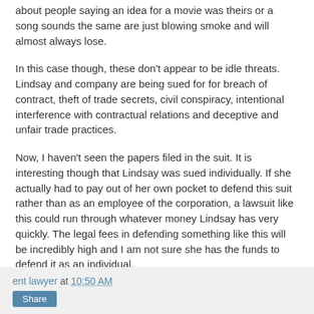about people saying an idea for a movie was theirs or a song sounds the same are just blowing smoke and will almost always lose.
In this case though, these don't appear to be idle threats. Lindsay and company are being sued for for breach of contract, theft of trade secrets, civil conspiracy, intentional interference with contractual relations and deceptive and unfair trade practices.
Now, I haven't seen the papers filed in the suit. It is interesting though that Lindsay was sued individually. If she actually had to pay out of her own pocket to defend this suit rather than as an employee of the corporation, a lawsuit like this could run through whatever money Lindsay has very quickly. The legal fees in defending something like this will be incredibly high and I am not sure she has the funds to defend it as an individual.
ent lawyer at 10:50 AM